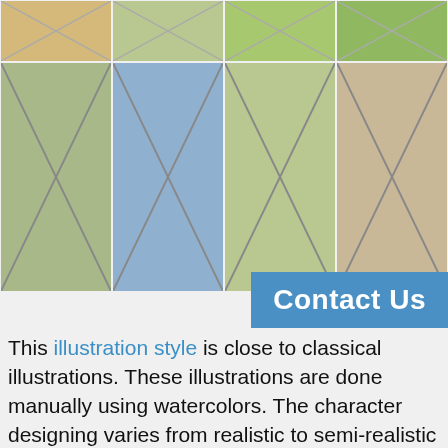[Figure (illustration): Two rows of illustration thumbnails showing children's book style watercolor artwork. Top partial row shows 4 cropped images of fantasy/nature scenes. Second full row shows 4 larger images: dinosaurs, fairies with rainbow, fishing/stork scene, and a baby crib scene. All images have X placeholder marks overlaid.]
[Figure (other): Contact Us blue button overlaid on images]
This illustration style is close to classical illustrations. These illustrations are done manually using watercolors. The character designing varies from realistic to semi-realistic and the transparent watercolors make the illustrations translucent and illuminating. This Classic illustration is suitable for all ages and all genres of books.
This style of illustration is a classic illustration style done in watercolor and the characters look very real. The colors used depend upon the requirement of the scene and all kinds of colors are used, bright as well as dull, in order to